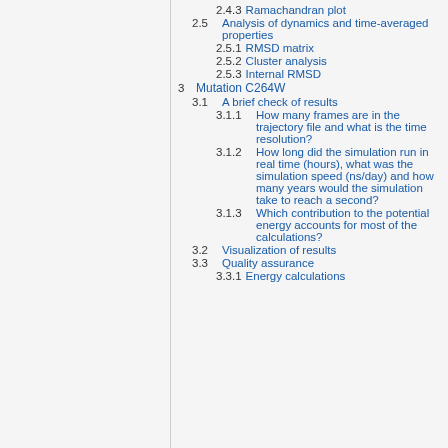2.4.3 Ramachandran plot
2.5 Analysis of dynamics and time-averaged properties
2.5.1 RMSD matrix
2.5.2 Cluster analysis
2.5.3 Internal RMSD
3 Mutation C264W
3.1 A brief check of results
3.1.1 How many frames are in the trajectory file and what is the time resolution?
3.1.2 How long did the simulation run in real time (hours), what was the simulation speed (ns/day) and how many years would the simulation take to reach a second?
3.1.3 Which contribution to the potential energy accounts for most of the calculations?
3.2 Visualization of results
3.3 Quality assurance
3.3.1 Energy calculations